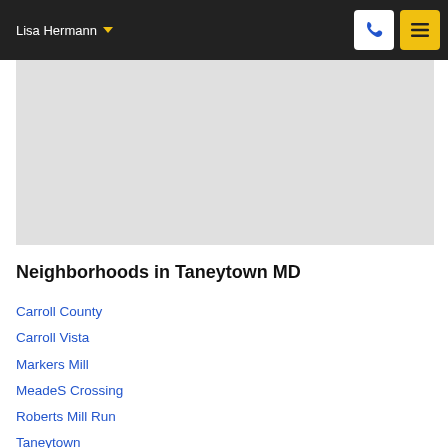Lisa Hermann
[Figure (map): Gray placeholder map area showing Taneytown MD region]
Neighborhoods in Taneytown MD
Carroll County
Carroll Vista
Markers Mill
MeadeS Crossing
Roberts Mill Run
Taneytown